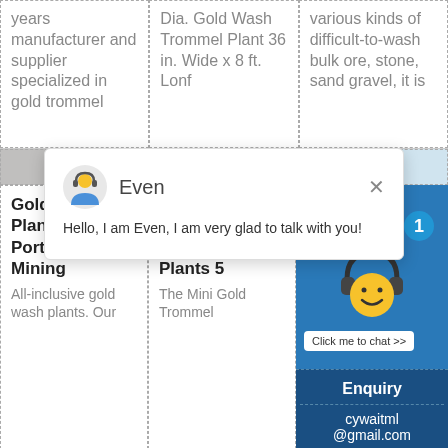years manufacturer and supplier specialized in gold trommel
Dia. Gold Wash Trommel Plant 36 in. Wide x 8 ft. Lonf
various kinds of difficult-to-wash bulk ore, stone, sand gravel, it is
[Figure (photo): Three product image thumbnails partially visible]
[Figure (screenshot): Chat popup with avatar of person with headset, name Even, message: Hello, I am Even, I am very glad to talk with you!]
Gold Wash Plants for Sale Portable Gold Mining
All-inclusive gold wash plants. Our
Gold Diamond Mining Mini Trommel Wash Plants 5
The Mini Gold Trommel
[Figure (screenshot): Blue panel with smiley face emoji wearing headphones, notification badge showing 1, Click me to chat button]
Enquiry
cywaitml@gmail.com